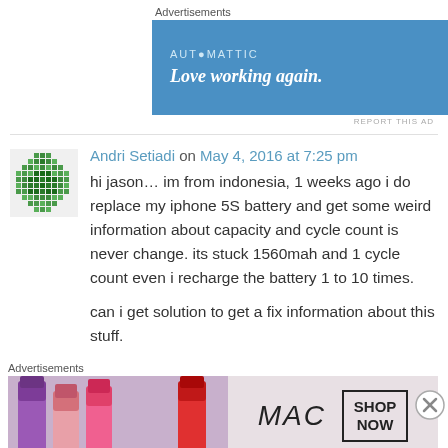Advertisements
[Figure (screenshot): Automattic advertisement banner with blue background. Text: AUTOMATTIC, Love working again.]
REPORT THIS AD
Andri Setiadi on May 4, 2016 at 7:25 pm
hi jason… im from indonesia, 1 weeks ago i do replace my iphone 5S battery and get some weird information about capacity and cycle count is never change. its stuck 1560mah and 1 cycle count even i recharge the battery 1 to 10 times.

can i get solution to get a fix information about this stuff.
Advertisements
[Figure (screenshot): MAC Cosmetics advertisement showing lipsticks with SHOP NOW button.]
REPORT THIS AD